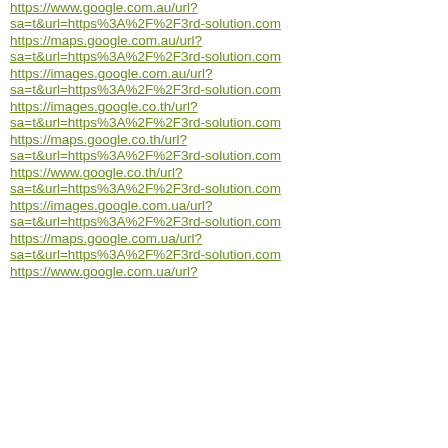https://www.google.com.au/url?
sa=t&url=https%3A%2F%2F3rd-solution.com
https://maps.google.com.au/url?
sa=t&url=https%3A%2F%2F3rd-solution.com
https://images.google.com.au/url?
sa=t&url=https%3A%2F%2F3rd-solution.com
https://images.google.co.th/url?
sa=t&url=https%3A%2F%2F3rd-solution.com
https://maps.google.co.th/url?
sa=t&url=https%3A%2F%2F3rd-solution.com
https://www.google.co.th/url?
sa=t&url=https%3A%2F%2F3rd-solution.com
https://images.google.com.ua/url?
sa=t&url=https%3A%2F%2F3rd-solution.com
https://maps.google.com.ua/url?
sa=t&url=https%3A%2F%2F3rd-solution.com
https://www.google.com.ua/url?